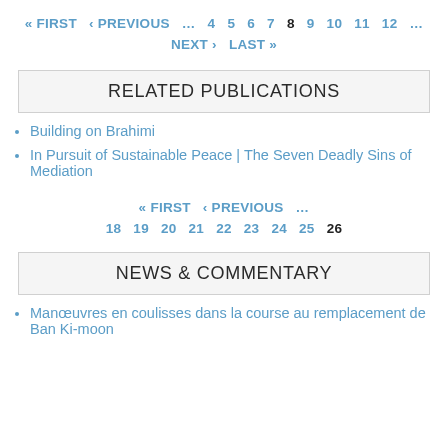« FIRST ‹ PREVIOUS … 4 5 6 7 8 9 10 11 12 … NEXT › LAST »
RELATED PUBLICATIONS
Building on Brahimi
In Pursuit of Sustainable Peace | The Seven Deadly Sins of Mediation
« FIRST ‹ PREVIOUS … 18 19 20 21 22 23 24 25 26
NEWS & COMMENTARY
Manœuvres en coulisses dans la course au remplacement de Ban Ki-moon